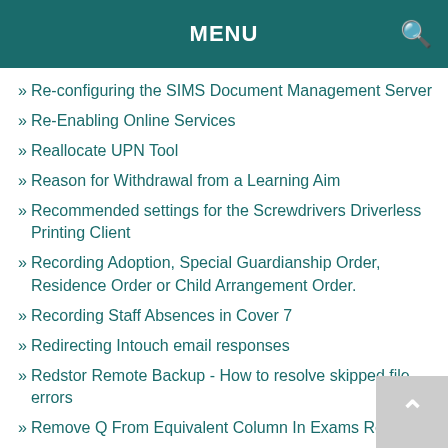MENU
Re-configuring the SIMS Document Management Server
Re-Enabling Online Services
Reallocate UPN Tool
Reason for Withdrawal from a Learning Aim
Recommended settings for the Screwdrivers Driverless Printing Client
Recording Adoption, Special Guardianship Order, Residence Order or Child Arrangement Order.
Recording Staff Absences in Cover 7
Redirecting Intouch email responses
Redstor Remote Backup - How to resolve skipped file errors
Remove Q From Equivalent Column In Exams Reports